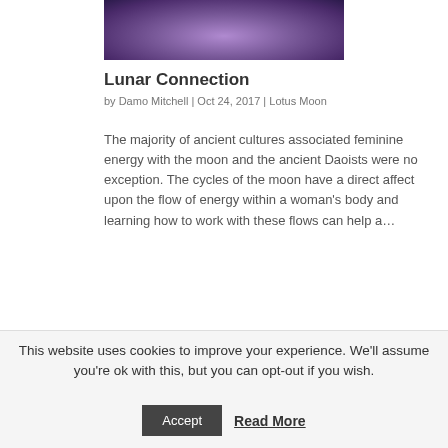[Figure (photo): Top decorative image with purple/violet floral or abstract tones]
Lunar Connection
by Damo Mitchell | Oct 24, 2017 | Lotus Moon
The majority of ancient cultures associated feminine energy with the moon and the ancient Daoists were no exception. The cycles of the moon have a direct affect upon the flow of energy within a woman's body and learning how to work with these flows can help a...
[Figure (photo): Bottom image with dark blue/cloudy sky tones]
This website uses cookies to improve your experience. We'll assume you're ok with this, but you can opt-out if you wish.
Accept  Read More